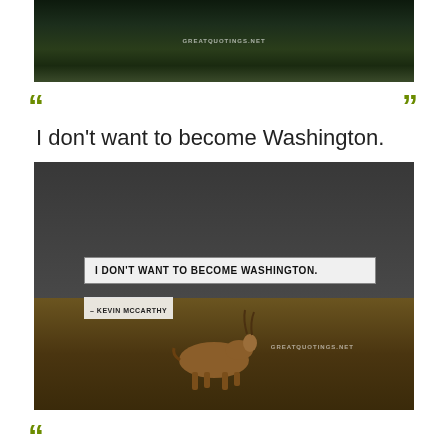[Figure (photo): Dark forest scene with a stream/waterfall, dense green ferns and vegetation, very dark moody lighting. Website watermark visible at top center.]
“ I don't want to become Washington. ”
[Figure (photo): Dark moody photo of an antelope/gazelle walking through dry grassland. Overlaid text box reads 'I DON'T WANT TO BECOME WASHINGTON.' with attribution '- KEVIN MCCARTHY' and a website watermark.]
“